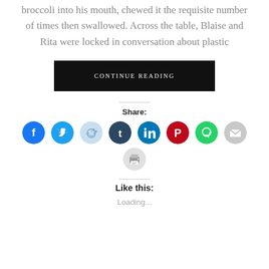broccoli into his mouth, chewed it the requisite number of times then swallowed. Across the table, Blaise and Rita were locked in conversation about plastic
CONTINUE READING
Share:
[Figure (infographic): Row of social media share icon buttons: Facebook (blue), Twitter (blue), Reddit (light blue), Tumblr (dark blue), LinkedIn (blue), Pinterest (red), WhatsApp (green), Email (gray), Print (gray)]
Like this:
Loading...